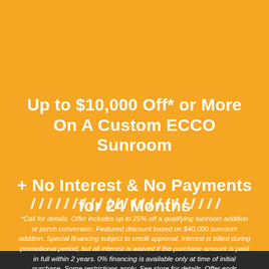Up to $10,000 Off* or More On A Custom ECCO Sunroom + No Interest & No Payments for 24 Months
[Figure (other): Diagonal hatching/stripe divider graphic in white on orange background]
*Call for details. Offer includes up to 25% off a qualifying sunroom addition or porch conversion. Featured discount based on $40,000 sunroom addition. Special financing subject to credit approval. Interest is billed during promotional period, but all interest is waived if the purchase amount is paid in full within 2 years. 0% financing is available only at time of initial purchase. Some restrictions apply. See store for details. Offer ends September 30, 2022.